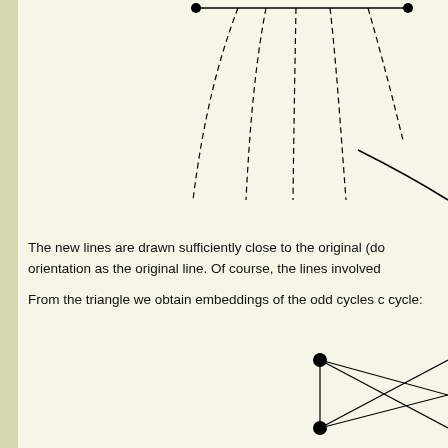[Figure (engineering-diagram): Top portion of a mathematical diagram showing two filled circles connected by a horizontal line at top, with several dashed curved/vertical lines hanging downward from beneath the horizontal line. To the right, a solid curved arc is partially visible.]
The new lines are drawn sufficiently close to the original (do orientation as the original line. Of course, the lines involved
From the triangle we obtain embeddings of the odd cycles c cycle:
[Figure (engineering-diagram): Bottom-right partial view of a graph diagram showing two filled circles connected by crossing lines forming an X pattern with additional lines extending to the right edge of the page.]